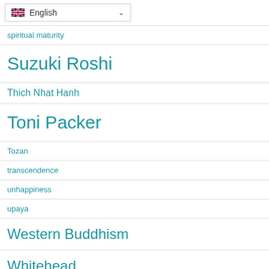[Figure (screenshot): Language selector dropdown showing UK flag and 'English' with a chevron]
spiritual maturity
Suzuki Roshi
Thich Nhat Hanh
Toni Packer
Tozan
transcendence
unhappiness
upaya
Western Buddhism
Whitehead
William James
William Penn
wisdom